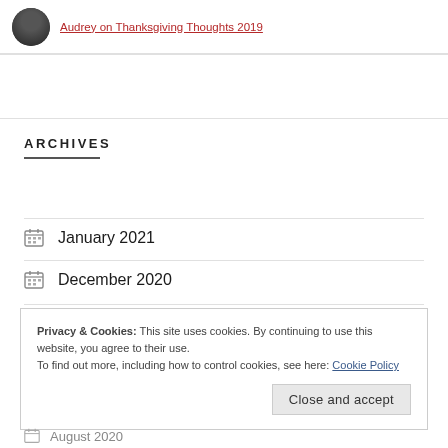Audrey on Thanksgiving Thoughts 2019
ARCHIVES
January 2021
December 2020
Privacy & Cookies: This site uses cookies. By continuing to use this website, you agree to their use. To find out more, including how to control cookies, see here: Cookie Policy
August 2020